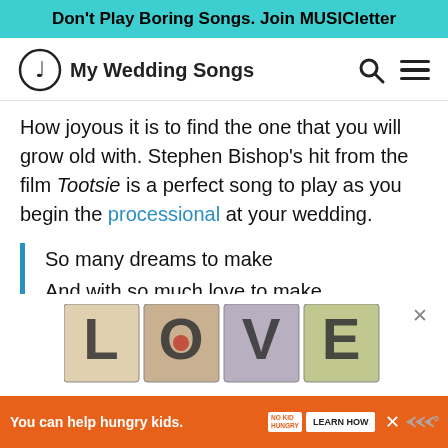Don't Play Boring Songs. Join MUSICletter
[Figure (logo): My Wedding Songs logo with musical note icon and text]
How joyous it is to find the one that you will grow old with. Stephen Bishop's hit from the film Tootsie is a perfect song to play as you begin the processional at your wedding.
So many dreams to make
And with so much love to make
I think we're gonna meet some time
[Figure (illustration): LOVE text art illustration in decorative style with close button]
You can help hungry kids. NO KID HUNGRY LEARN HOW